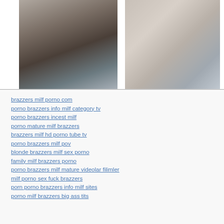[Figure (photo): Two photos side by side: left shows a couple from behind outdoors, right shows a close-up of clothing/body]
brazzers milf porno com
porno brazzers info milf category tv
porno brazzers incest milf
porno mature milf brazzers
brazzers milf hd porno tube tv
porno brazzers milf pov
blonde brazzers milf sex porno
family milf brazzers porno
porno brazzers milf mature videolar filimler
milf porno sex fuck brazzers
porn porno brazzers info milf sites
porno milf brazzers big ass tits